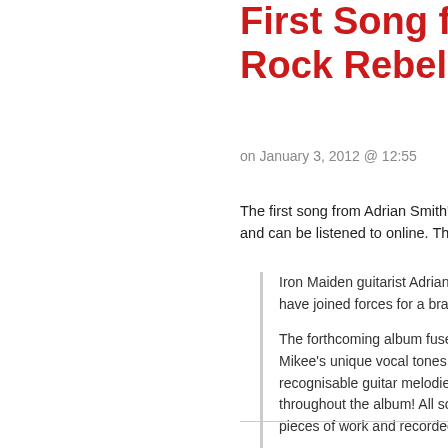First Song from A Rock Rebellion
on January 3, 2012 @ 12:55
The first song from Adrian Smith's side project has been released and can be listened to online. The offi…
Iron Maiden guitarist Adrian Smith … have joined forces for a brand new…

The forthcoming album fuses toge… Mikee's unique vocal tones and da… recognisable guitar melodies and s… throughout the album! All songs we… pieces of work and recorded in cre…
The track can be found on the band's…
The build-up to the announcement wa… Announcement on the Official site…